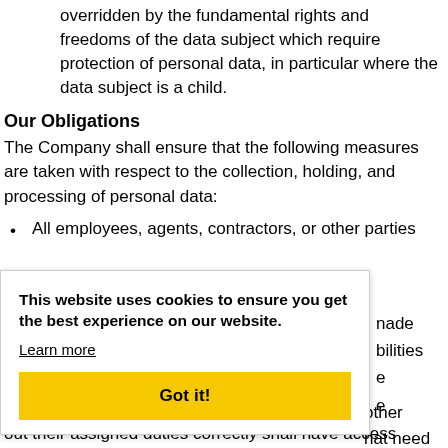overridden by the fundamental rights and freedoms of the data subject which require protection of personal data, in particular where the data subject is a child.
Our Obligations
The Company shall ensure that the following measures are taken with respect to the collection, holding, and processing of personal data:
All employees, agents, contractors, or other parties working on behalf of the Company shall be made aware of and shall be trained in their responsibilities under this Policy and under the GDPR, and shall be provided with copies of this Policy, or other supporting policies and documentation that need to carry out their assigned duties correctly shall have access
This website uses cookies to ensure you get the best experience on our website.
Learn more
Got it!